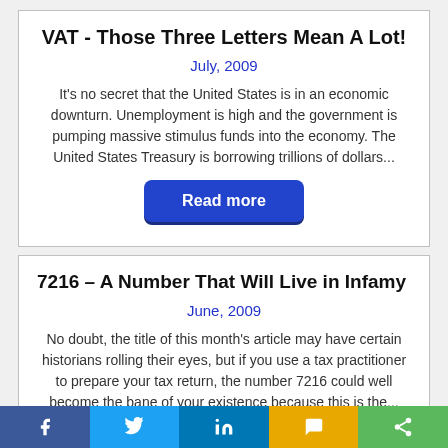VAT - Those Three Letters Mean A Lot!
July, 2009
It's no secret that the United States is in an economic downturn. Unemployment is high and the government is pumping massive stimulus funds into the economy. The United States Treasury is borrowing trillions of dollars...
Read more
7216 – A Number That Will Live in Infamy
June, 2009
No doubt, the title of this month's article may have certain historians rolling their eyes, but if you use a tax practitioner to prepare your tax return, the number 7216 could well become the bane of your existence because this is the...